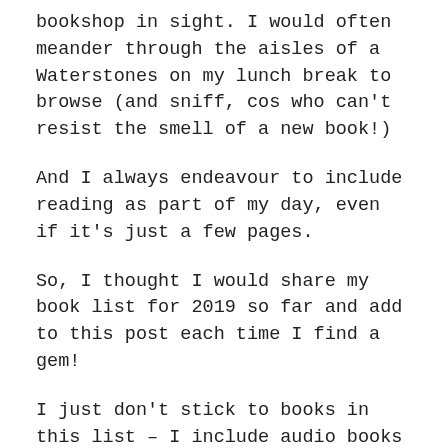bookshop in sight. I would often meander through the aisles of a Waterstones on my lunch break to browse (and sniff, cos who can't resist the smell of a new book!)
And I always endeavour to include reading as part of my day, even if it's just a few pages.
So, I thought I would share my book list for 2019 so far and add to this post each time I find a gem!
I just don't stick to books in this list – I include audio books too via the Audible app, and there are also a couple of magazine choices too because not all of us have the time or desire to read a book from front to back.